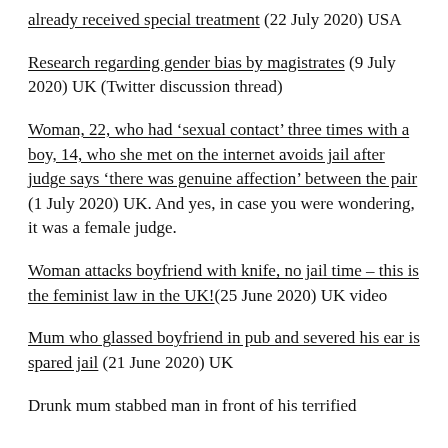already received special treatment (22 July 2020) USA
Research regarding gender bias by magistrates (9 July 2020) UK (Twitter discussion thread)
Woman, 22, who had ‘sexual contact’ three times with a boy, 14, who she met on the internet avoids jail after judge says ‘there was genuine affection’ between the pair (1 July 2020) UK. And yes, in case you were wondering, it was a female judge.
Woman attacks boyfriend with knife, no jail time – this is the feminist law in the UK!(25 June 2020) UK video
Mum who glassed boyfriend in pub and severed his ear is spared jail (21 June 2020) UK
Drunk mum stabbed man in front of his terrified